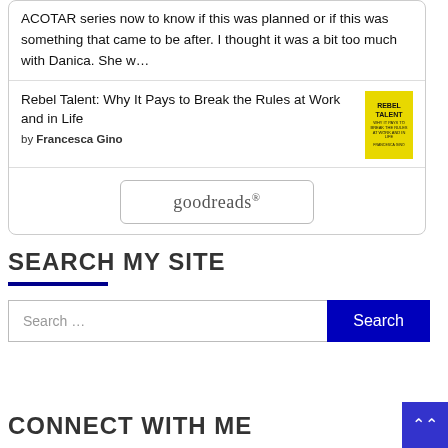ACOTAR series now to know if this was planned or if this was something that came to be after. I thought it was a bit too much with Danica. She w…
[Figure (screenshot): Book entry: Rebel Talent: Why It Pays to Break the Rules at Work and in Life by Francesca Gino, with yellow book cover thumbnail]
[Figure (logo): Goodreads logo button in a rounded rectangle]
SEARCH MY SITE
Search …
Search
CONNECT WITH ME